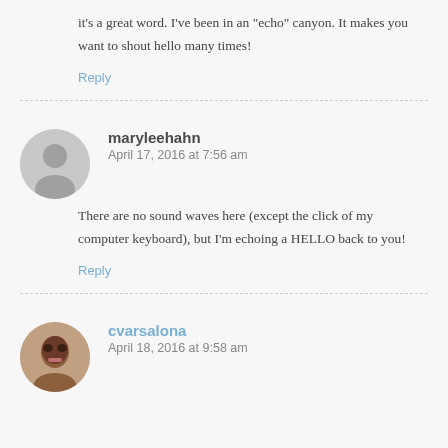it's a great word. I've been in an “echo” canyon. It makes you want to shout hello many times!
Reply
maryleehahn
April 17, 2016 at 7:56 am
There are no sound waves here (except the click of my computer keyboard), but I'm echoing a HELLO back to you!
Reply
cvarsalona
April 18, 2016 at 9:58 am